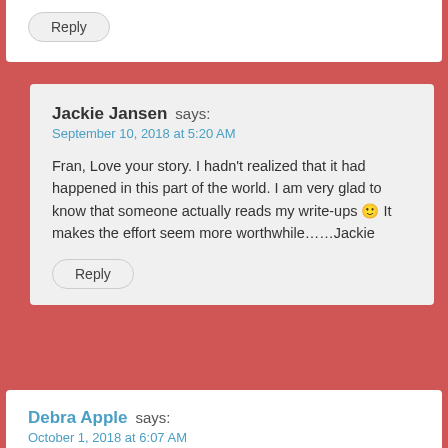Reply
Jackie Jansen says:
September 10, 2018 at 5:20 AM
Fran, Love your story. I hadn't realized that it had happened in this part of the world. I am very glad to know that someone actually reads my write-ups 🙂 It makes the effort seem more worthwhile……Jackie
Reply
Debra Apple says:
October 1, 2018 at 6:07 AM
We had a travel guide on our last trip to Europe